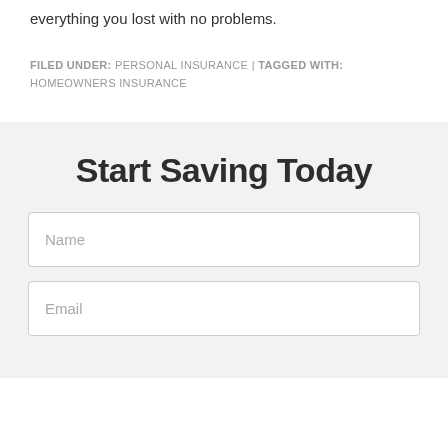everything you lost with no problems.
FILED UNDER: PERSONAL INSURANCE | TAGGED WITH: HOMEOWNERS INSURANCE
Start Saving Today
Name
Email